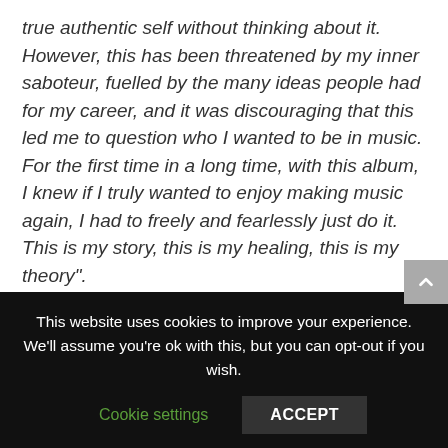true authentic self without thinking about it. However, this has been threatened by my inner saboteur, fuelled by the many ideas people had for my career, and it was discouraging that this led me to question who I wanted to be in music. For the first time in a long time, with this album, I knew if I truly wanted to enjoy making music again, I had to freely and fearlessly just do it. This is my story, this is my healing, this is my theory".
Counting the likes of Wonderland, Notion, GQ, Glamour, BBC 1Xtra and Soulection as fans,
This website uses cookies to improve your experience. We'll assume you're ok with this, but you can opt-out if you wish.
Cookie settings
ACCEPT